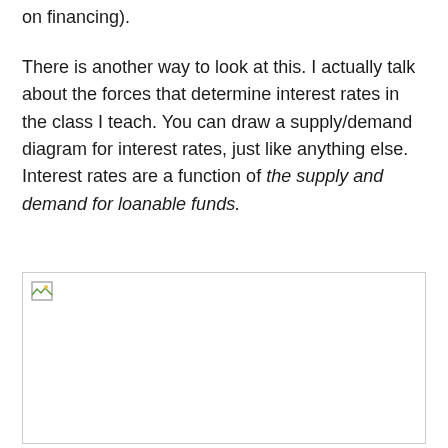on financing).
There is another way to look at this. I actually talk about the forces that determine interest rates in the class I teach. You can draw a supply/demand diagram for interest rates, just like anything else. Interest rates are a function of the supply and demand for loanable funds.
[Figure (illustration): A broken/missing image placeholder with a small image icon in the top-left corner, shown as a white rectangle with a light grey border.]